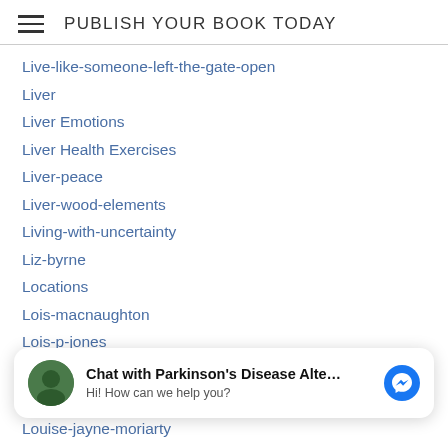PUBLISH YOUR BOOK TODAY
Live-like-someone-left-the-gate-open
Liver
Liver Emotions
Liver Health Exercises
Liver-peace
Liver-wood-elements
Living-with-uncertainty
Liz-byrne
Locations
Lois-macnaughton
Lois-p-jones
Lojban-conlang
Longchuan-china
[Figure (infographic): Chat widget with avatar, text 'Chat with Parkinson's Disease Alte...' and 'Hi! How can we help you?', and Messenger icon]
Louise-jayne-moriarty